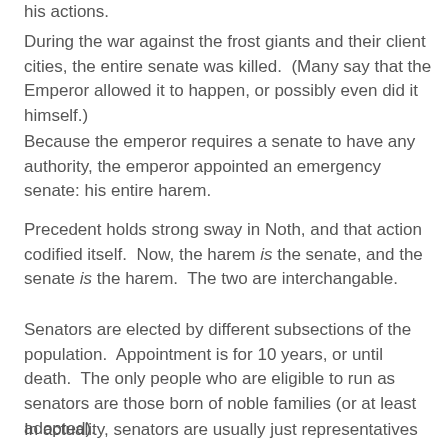his actions.
During the war against the frost giants and their client cities, the entire senate was killed.  (Many say that the Emperor allowed it to happen, or possibly even did it himself.)
Because the emperor requires a senate to have any authority, the emperor appointed an emergency senate: his entire harem.
Precedent holds strong sway in Noth, and that action codified itself.  Now, the harem is the senate, and the senate is the harem.  The two are interchangable.
Senators are elected by different subsections of the population.  Appointment is for 10 years, or until death.  The only people who are eligible to run as senators are those born of noble families (or at least adopted).
In actuality, senators are usually just representatives of their families, and act in their family's own interests (but not always).